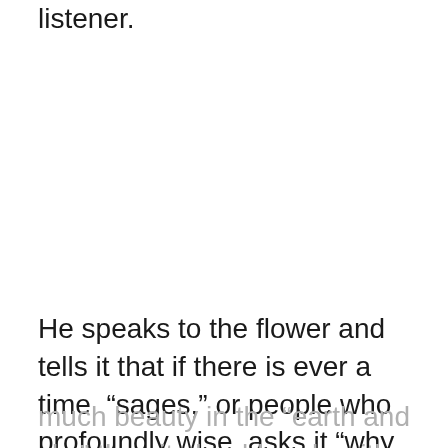listener.
He speaks to the flower and tells it that if there is ever a time “sages,” or people who profoundly wise, asks it “why there is so
much beauty in the “earth and sky” then it should reply with a simple answer. The